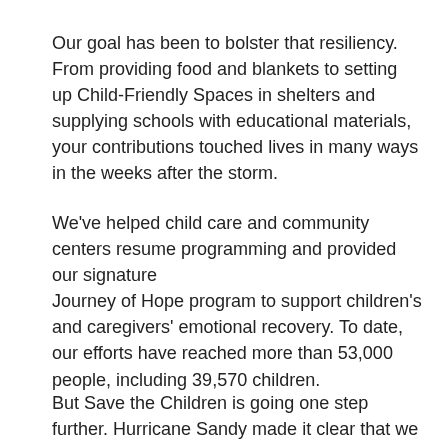Our goal has been to bolster that resiliency. From providing food and blankets to setting up Child-Friendly Spaces in shelters and supplying schools with educational materials, your contributions touched lives in many ways in the weeks after the storm.
We've helped child care and community centers resume programming and provided our signature Journey of Hope program to support children's and caregivers' emotional recovery. To date, our efforts have reached more than 53,000 people, including 39,570 children.
But Save the Children is going one step further. Hurricane Sandy made it clear that we can never be